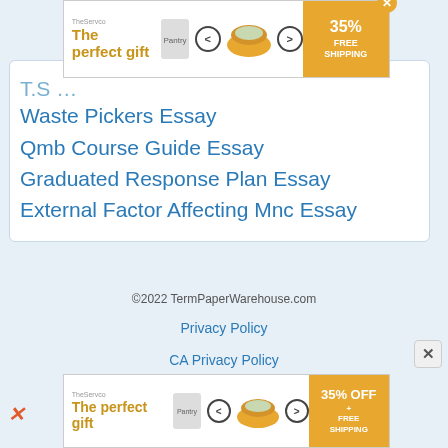[Figure (other): Advertisement banner at top: 'The perfect gift' with food bowl imagery, navigation arrows, and '35% FREE SHIPPING' promotional block]
Waste Pickers Essay
Qmb Course Guide Essay
Graduated Response Plan Essay
External Factor Affecting Mnc Essay
©2022 TermPaperWarehouse.com
Privacy Policy
CA Privacy Policy
[Figure (other): Advertisement banner at bottom: 'The perfect gift' with food bowl imagery, navigation arrows, and '35% OFF + FREE SHIPPING' promotional block]